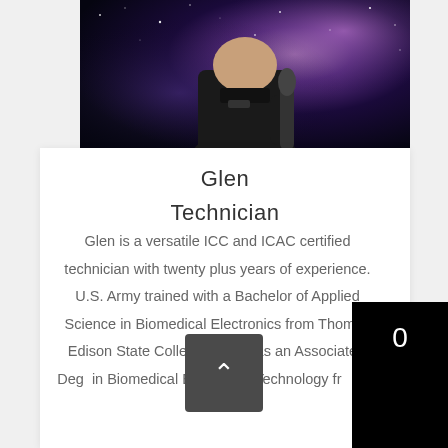[Figure (photo): Cropped photo of a person in a dark shirt holding a microphone, standing in front of a galaxy/space background with purple and blue tones. Image is partially cut off — only the lower half visible.]
Glen
Technician
Glen is a versatile ICC and ICAC certified technician with twenty plus years of experience. U.S. Army trained with a Bachelor of Applied Science in Biomedical Electronics from Thomas Edison State College as well as an Associate's Degree in Biomedical Equipment Technology from the University of Phoenix. Additionally...